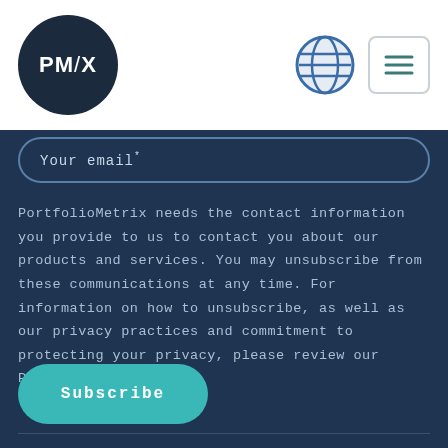PMX logo with globe and menu icons
Your email *
PortfolioMetrix needs the contact information you provide to us to contact you about our products and services. You may unsubscribe from these communications at any time. For information on how to unsubscribe, as well as our privacy practices and commitment to protecting your privacy, please review our Privacy Policy.
Subscribe